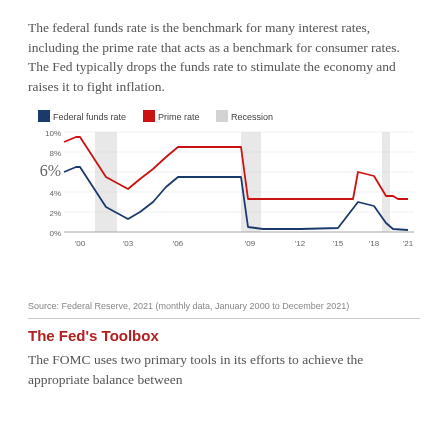The federal funds rate is the benchmark for many interest rates, including the prime rate that acts as a benchmark for consumer rates. The Fed typically drops the funds rate to stimulate the economy and raises it to fight inflation.
[Figure (line-chart): ]
Source: Federal Reserve, 2021 (monthly data, January 2000 to December 2021)
The Fed's Toolbox
The FOMC uses two primary tools in its efforts to achieve the appropriate balance between